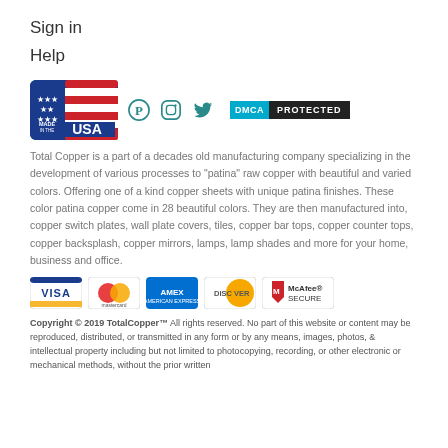Sign in
Help
[Figure (logo): Made in the USA logo, Pinterest icon, Instagram icon, Twitter icon, DMCA Protected badge]
Total Copper is a part of a decades old manufacturing company specializing in the development of various processes to “patina” raw copper with beautiful and varied colors. Offering one of a kind copper sheets with unique patina finishes. These color patina copper come in 28 beautiful colors. They are then manufactured into, copper switch plates, wall plate covers, tiles, copper bar tops, copper counter tops, copper backsplash, copper mirrors, lamps, lamp shades and more for your home, business and office.
[Figure (logo): Payment method logos: VISA, Mastercard, American Express, Discover, McAfee SECURE]
Copyright © 2019  TotalCopper™ All rights reserved. No part of this website or content may be reproduced, distributed, or transmitted in any form or by any means, images, photos, & intellectual property including but not limited to photocopying, recording, or other electronic or mechanical methods, without the prior written